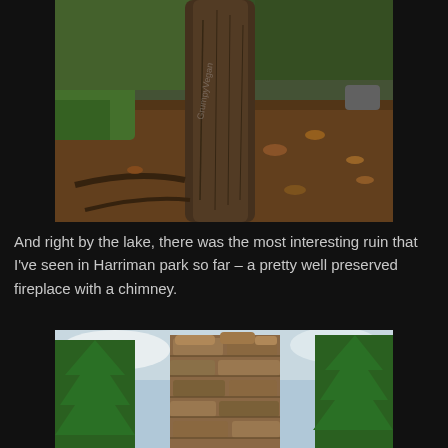[Figure (photo): Photograph of a large tree trunk in a forest setting with fallen leaves on the ground, green grass visible on the left, and roots extending into the soil. Taken in Harriman Park near a lake.]
And right by the lake, there was the most interesting ruin that I've seen in Harriman park so far – a pretty well preserved fireplace with a chimney.
[Figure (photo): Photograph looking upward at a stone chimney structure (fireplace ruin) surrounded by green pine trees against a partly cloudy sky, located in Harriman Park.]